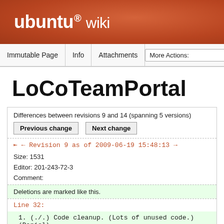ubuntu® wiki
Immutable Page | Info | Attachments | More Actions:
LoCoTeamPortal
Differences between revisions 9 and 14 (spanning 5 versions)
Previous change   Next change
↤ ← Revision 9 as of 2009-06-19 15:48:13 →
Size: 1531
Editor: 201-243-72-3
Comment:
Deletions are marked like this.
Line 32:
1. (./.) Code cleanup. (Lots of unused code.) (Daniel)
Line 34: